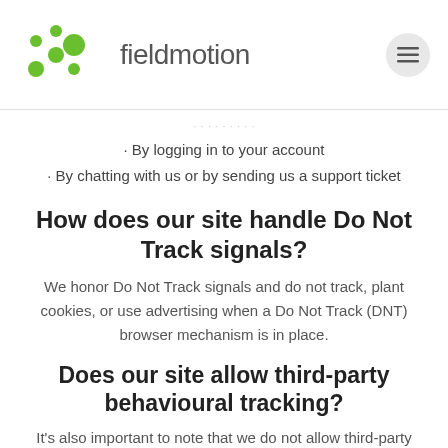fieldmotion
· By logging in to your account
· By chatting with us or by sending us a support ticket
How does our site handle Do Not Track signals?
We honor Do Not Track signals and do not track, plant cookies, or use advertising when a Do Not Track (DNT) browser mechanism is in place.
Does our site allow third-party behavioural tracking?
It's also important to note that we do not allow third-party